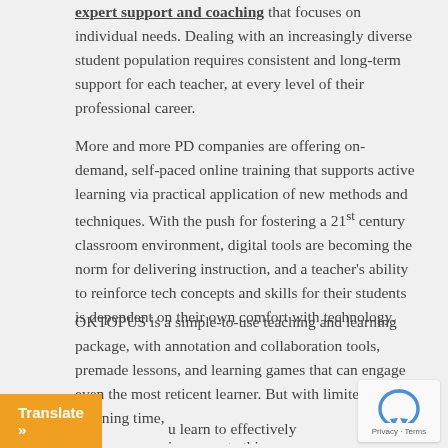expert support and coaching that focuses on individual needs. Dealing with an increasingly diverse student population requires consistent and long-term support for each teacher, at every level of their professional career.
More and more PD companies are offering on-demand, self-paced online training that supports active learning via practical application of new methods and techniques. With the push for fostering a 21st century classroom environment, digital tools are becoming the norm for delivering instruction, and a teacher's ability to reinforce tech concepts and skills for their students is dependent on their own comfort with technology.
OKTOPUS is a simple-to-use teaching and learning package, with annotation and collaboration tools, premade lessons, and learning games that can engage even the most reticent learner. But with limited planning time, [you learn to effectively incorporate this